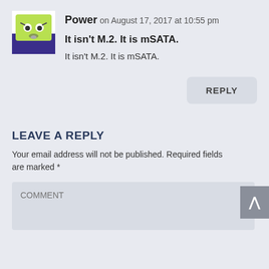[Figure (photo): Square avatar image of a cartoon green face on a purple/dark background]
Power on August 17, 2017 at 10:55 pm
It isn't M.2. It is mSATA.
It isn't M.2. It is mSATA.
REPLY
LEAVE A REPLY
Your email address will not be published. Required fields are marked *
COMMENT